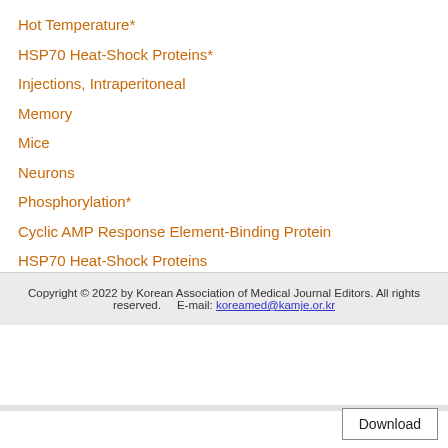Hot Temperature*
HSP70 Heat-Shock Proteins*
Injections, Intraperitoneal
Memory
Mice
Neurons
Phosphorylation*
Cyclic AMP Response Element-Binding Protein
HSP70 Heat-Shock Proteins
Heat-Shock Proteins
Copyright © 2022 by Korean Association of Medical Journal Editors. All rights reserved.     E-mail: koreamed@kamje.or.kr